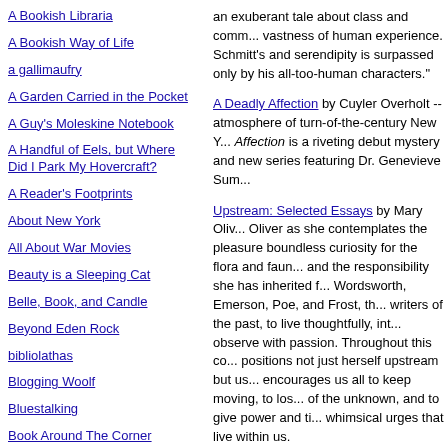A Bookish Libraria
A Bookish Way of Life
a gallimaufry
A Garden Carried in the Pocket
A Guy's Moleskine Notebook
A Handful of Eels, but Where Did I Park My Hovercraft?
A Reader's Footprints
About New York
All About War Movies
Beauty is a Sleeping Cat
Belle, Book, and Candle
Beyond Eden Rock
bibliolathas
Blogging Woolf
Bluestalking
Book Around The Corner
Book Chase
an exuberant tale about class and comm... vastness of human experience. Schmitt's and serendipity is surpassed only by his all-too-human characters."
A Deadly Affection by Cuyler Overholt -- atmosphere of turn-of-the-century New Y... Affection is a riveting debut mystery and new series featuring Dr. Genevieve Sum...
Upstream: Selected Essays by Mary Oliv... Oliver as she contemplates the pleasure boundless curiosity for the flora and faun... and the responsibility she has inherited f... Wordsworth, Emerson, Poe, and Frost, th... writers of the past, to live thoughtfully, int... observe with passion. Throughout this co... positions not just herself upstream but us... encourages us all to keep moving, to los... of the unknown, and to give power and ti... whimsical urges that live within us.
Browsings: A Year of Reading, Collecting by Michael Dirda -- Just seeing the autho...